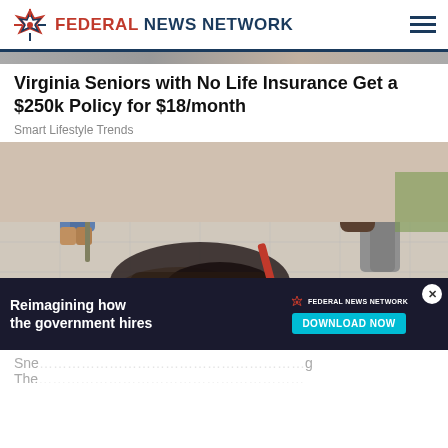FEDERAL NEWS NETWORK
[Figure (photo): Partial top edge of an outdoor scene, partially cropped]
Virginia Seniors with No Life Insurance Get a $250k Policy for $18/month
Smart Lifestyle Trends
[Figure (photo): Outdoor scene showing debris or wreckage on pavement, with people's legs visible, someone using a red tool or handle, daylight setting]
[Figure (infographic): Advertisement banner: Reimagining how the government hires — Federal News Network — DOWNLOAD NOW button]
Sne... g The...